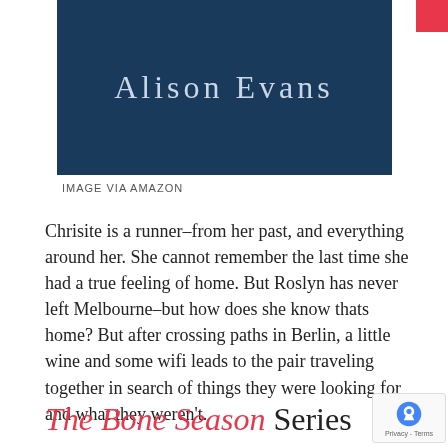[Figure (illustration): Book cover with dark navy blue background displaying the author name 'Alison Evans' in light serif lettering]
IMAGE VIA AMAZON
Chrisite is a runner–from her past, and everything around her. She cannot remember the last time she had a true feeling of home. But Roslyn has never left Melbourne–but how does she know thats home? But after crossing paths in Berlin, a little wine and some wifi leads to the pair traveling together in search of things they were looking for and what they weren't.
The Bone Season Series